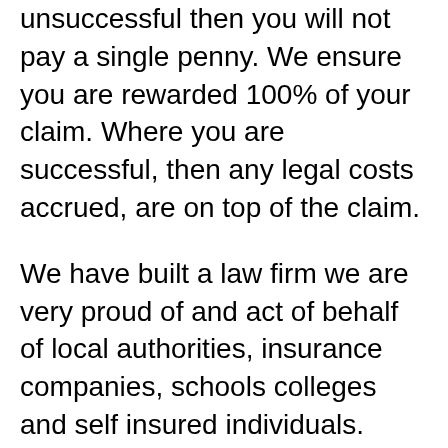unsuccessful then you will not pay a single penny. We ensure you are rewarded 100% of your claim. Where you are successful, then any legal costs accrued, are on top of the claim.
We have built a law firm we are very proud of and act of behalf of local authorities, insurance companies, schools colleges and self insured individuals. Tylers Solicitors are a company that are compensation specialists.
Accidents at Work
Bodily Injury
Clinical Negligence